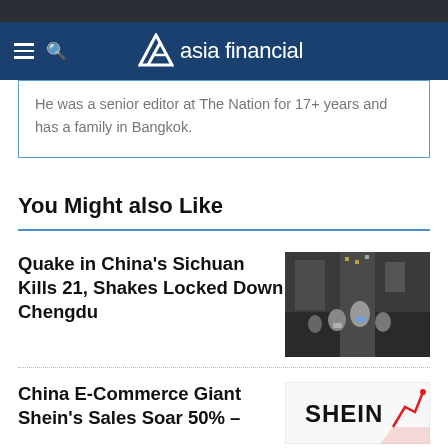asia financial
He was a senior editor at The Nation for 17+ years and has a family in Bangkok.
You Might also Like
Quake in China's Sichuan Kills 21, Shakes Locked Down Chengdu
[Figure (photo): People walking in a busy street in Chengdu, many wearing masks]
China E-Commerce Giant Shein's Sales Soar 50% –
[Figure (logo): SHEIN logo in black text on white background with red arrow graphic]